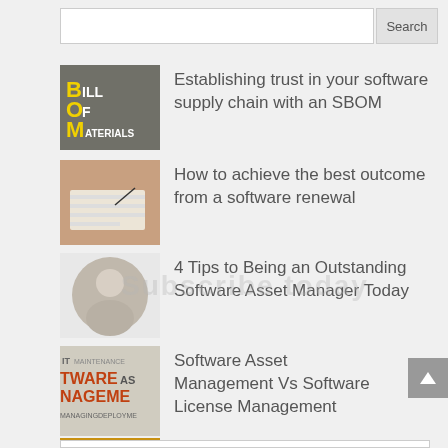Establishing trust in your software supply chain with an SBOM
How to achieve the best outcome from a software renewal
4 Tips to Being an Outstanding Software Asset Manager Today
Software Asset Management Vs Software License Management
Fedora sours on Creative Commons 'No Rights Reserved' license